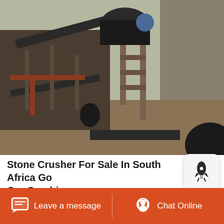[Figure (photo): Outdoor mining stone crusher facility in South Africa showing industrial crushing machinery, conveyor belts, metal frameworks, and a rocky cliff face in the background.]
Stone Crusher For Sale In South Africa Go Ore Crushing
Stone Crusher for Mineral Processing in South Africa In mineral stone processing line in South Africa, it will adopt gold ore crushers gold ore jaw crusher and impact crusher. Jaw crusher is used for the coarse crushing stage which
Leave a message   Chat Online